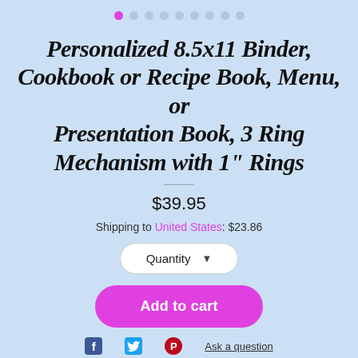[Figure (other): Carousel navigation dots, first dot active pink, rest grey]
Personalized 8.5x11 Binder, Cookbook or Recipe Book, Menu, or Presentation Book, 3 Ring Mechanism with 1" Rings
$39.95
Shipping to United States: $23.86
Quantity (dropdown)
Add to cart
Ask a question